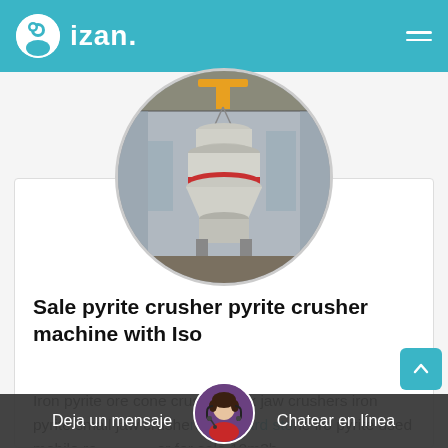izan.
[Figure (photo): Circular photo of a large industrial cone crusher machine being lifted by crane in a factory/warehouse setting. The machine is white and grey with red accents.]
Sale pyrite crusher pyrite crusher machine with Iso
Iron pyrite ore cone crusher rock jaw crushers iron pyrite small jaw crushe... nts for hard stone iro pyrite used mobile ro... er for sale 10m3h.
[Figure (photo): Customer support agent avatar - woman wearing a headset, used for live chat widget.]
Deja un mensaje   Chatear en línea